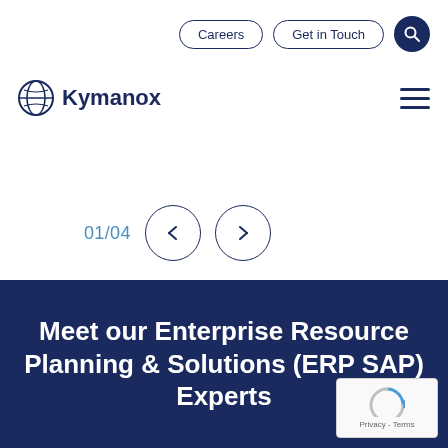Careers   Get in Touch
[Figure (logo): Kymanox company logo with globe icon and text 'Kymanox']
01/04
Meet our Enterprise Resource Planning & Solutions (ERP SAP) Experts